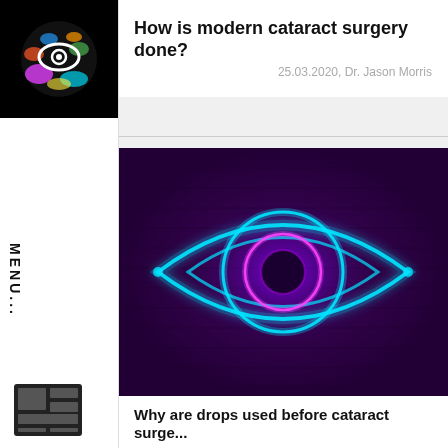[Figure (logo): Eye logo with colorful splashes on black background]
How is modern cataract surgery done?
25.03.2020, Dr. Jason Morris
[Figure (illustration): Neon glowing eye illustration on dark purple brick background with cyan and magenta neon light outlines]
Why are drops used before cataract surge...
25.03.2020, Dr. Jason Morris
[Figure (logo): Small window/browser icon in black]